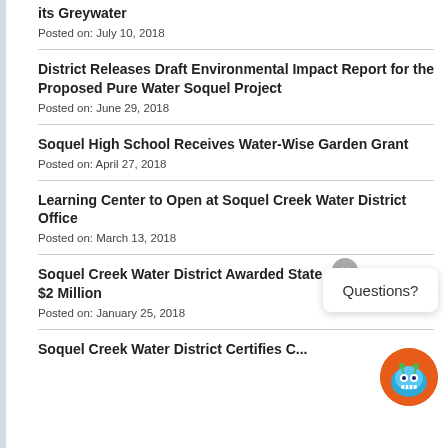its Greywater
Posted on: July 10, 2018
District Releases Draft Environmental Impact Report for the Proposed Pure Water Soquel Project
Posted on: June 29, 2018
Soquel High School Receives Water-Wise Garden Grant
Posted on: April 27, 2018
Learning Center to Open at Soquel Creek Water District Office
Posted on: March 13, 2018
Soquel Creek Water District Awarded State Grant of up to $2 Million
Posted on: January 25, 2018
Soquel Creek Water District Certifies...